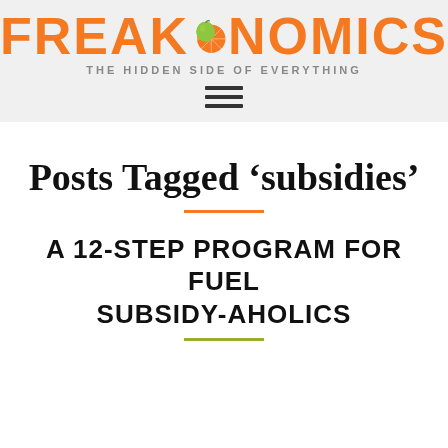FREAKONOMICS — THE HIDDEN SIDE OF EVERYTHING
Posts Tagged ‘subsidies’
A 12-STEP PROGRAM FOR FUEL SUBSIDY-AHOLICS